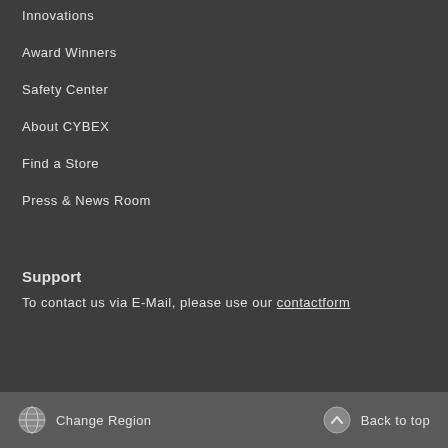Innovations
Award Winners
Safety Center
About CYBEX
Find a Store
Press & News Room
Support
To contact us via E-Mail, please use our contactform
Change Region   Back to top